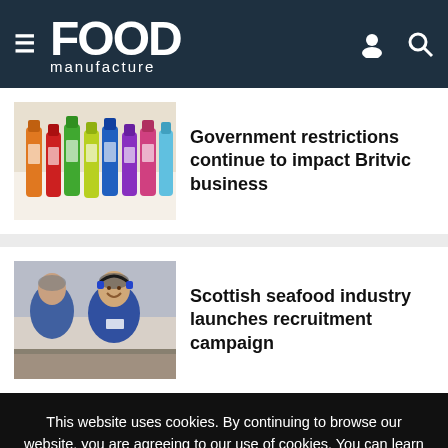FOOD manufacture
[Figure (photo): Colorful assorted drinks bottles lined up — Britvic products]
Government restrictions continue to impact Britvic business
[Figure (photo): Workers in blue uniforms with headsets in a seafood processing facility]
Scottish seafood industry launches recruitment campaign
This website uses cookies. By continuing to browse our website, you are agreeing to our use of cookies. You can learn more about cookies by visiting our privacy & cookies policy page.
I Agree